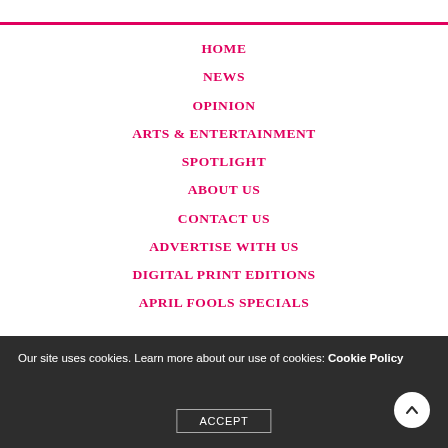HOME
NEWS
OPINION
ARTS & ENTERTAINMENT
SPOTLIGHT
ABOUT US
CONTACT US
ADVERTISE WITH US
DIGITAL PRINT EDITIONS
APRIL FOOLS SPECIALS
Our site uses cookies. Learn more about our use of cookies: Cookie Policy
ACCEPT